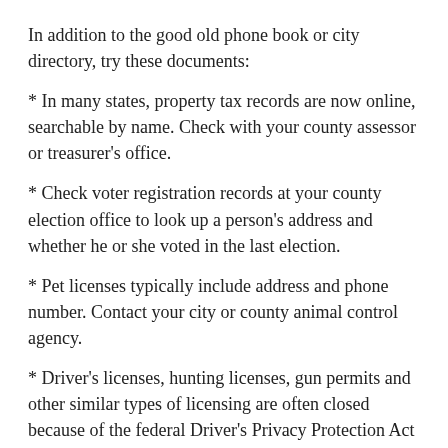In addition to the good old phone book or city directory, try these documents:
* In many states, property tax records are now online, searchable by name. Check with your county assessor or treasurer's office.
* Check voter registration records at your county election office to look up a person's address and whether he or she voted in the last election.
* Pet licenses typically include address and phone number. Contact your city or county animal control agency.
* Driver's licenses, hunting licenses, gun permits and other similar types of licensing are often closed because of the federal Driver's Privacy Protection Act and state restrictions. However, such records are still available to journalists in some cases. Check in your state.